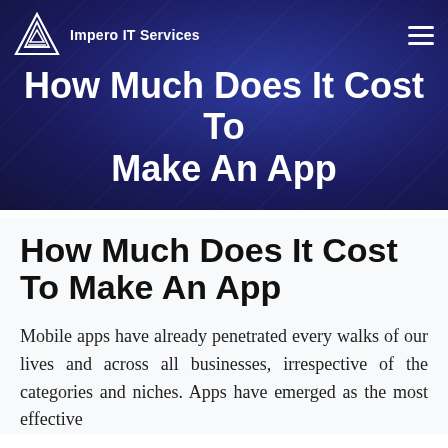Impero IT Services
How Much Does It Cost To Make An App
How Much Does It Cost To Make An App
Mobile apps have already penetrated every walks of our lives and across all businesses, irrespective of the categories and niches. Apps have emerged as the most effective